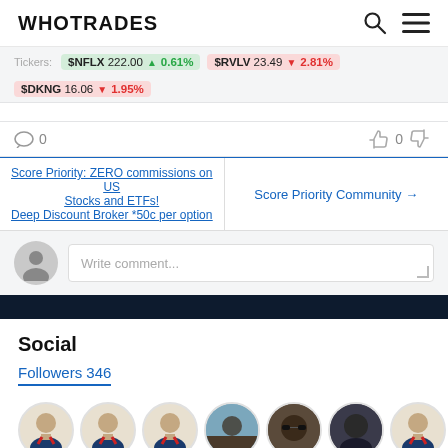WHOTRADES
Tickers: $NFLX 222.00 ▲0.61%  $RVLV 23.49 ▼2.81%  $DKNG 16.06 ▼1.95%
0 comments, 0 votes
Score Priority: ZERO commissions on US Stocks and ETFs! Deep Discount Broker *50c per option | Score Priority Community →
Write comment...
Social
Followers 346
[Figure (illustration): Row of 8 follower avatar circles: 3 default person icons (suit with red tie), 1 outdoor photo, 1 person with sunglasses, 1 person close-up, 2 more default person icons]